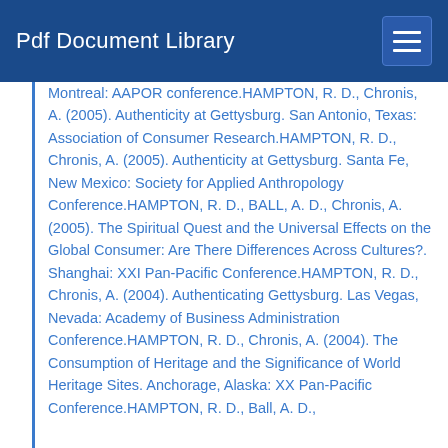Pdf Document Library
Montreal: AAPOR conference.HAMPTON, R. D., Chronis, A. (2005). Authenticity at Gettysburg. San Antonio, Texas: Association of Consumer Research.HAMPTON, R. D., Chronis, A. (2005). Authenticity at Gettysburg. Santa Fe, New Mexico: Society for Applied Anthropology Conference.HAMPTON, R. D., BALL, A. D., Chronis, A. (2005). The Spiritual Quest and the Universal Effects on the Global Consumer: Are There Differences Across Cultures?. Shanghai: XXI Pan-Pacific Conference.HAMPTON, R. D., Chronis, A. (2004). Authenticating Gettysburg. Las Vegas, Nevada: Academy of Business Administration Conference.HAMPTON, R. D., Chronis, A. (2004). The Consumption of Heritage and the Significance of World Heritage Sites. Anchorage, Alaska: XX Pan-Pacific Conference.HAMPTON, R. D., Ball, A. D.,